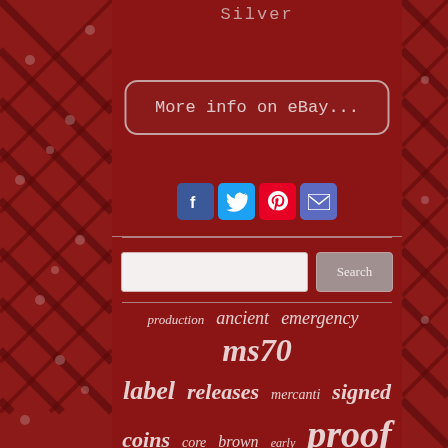Silver
[Figure (screenshot): eBay link button with text 'More info on eBay...' styled with rounded border]
[Figure (infographic): Social sharing icons: Facebook, Twitter, Pinterest, Email]
[Figure (screenshot): Search input field and Search button]
production  ancient  emergency  ms70  label  releases  mercanti  signed  coins  core  brown  early  proof  morgan  pf69  ms69  tetradrachm  dollar  pf70  fdoi  type